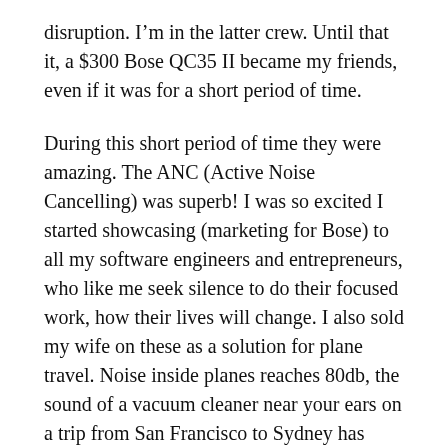disruption. I'm in the latter crew. Until that it, a $300 Bose QC35 II became my friends, even if it was for a short period of time.
During this short period of time they were amazing. The ANC (Active Noise Cancelling) was superb! I was so excited I started showcasing (marketing for Bose) to all my software engineers and entrepreneurs, who like me seek silence to do their focused work, how their lives will change. I also sold my wife on these as a solution for plane travel. Noise inside planes reaches 80db, the sound of a vacuum cleaner near your ears on a trip from San Francisco to Sydney has shown over time to damage ear drums.